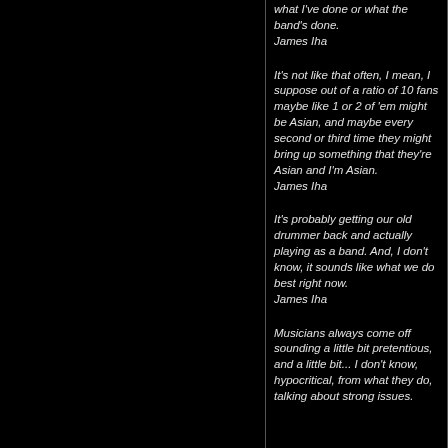what I've done or what the band's done.
James Iha
It's not like that often, I mean, I suppose out of a ratio of 10 fans maybe like 1 or 2 of 'em might be Asian, and maybe every second or third time they might bring up something that they're Asian and I'm Asian.
James Iha
It's probably getting our old drummer back and actually playing as a band. And, I don't know, it sounds like what we do best right now.
James Iha
Musicians always come off sounding a little bit pretentious, and a little bit... I don't know, hypocritical, from what they do, talking about strong issues.